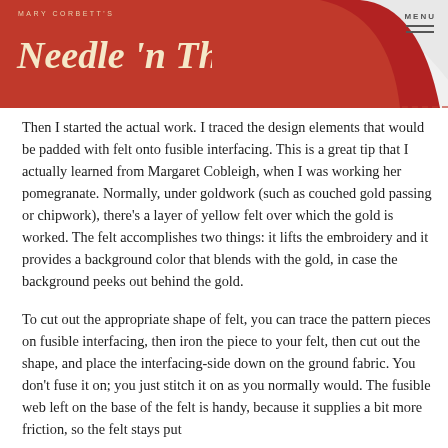Mary Corbett's Needle 'n Thread
Then I started the actual work. I traced the design elements that would be padded with felt onto fusible interfacing. This is a great tip that I actually learned from Margaret Cobleigh, when I was working her pomegranate. Normally, under goldwork (such as couched gold passing or chipwork), there's a layer of yellow felt over which the gold is worked. The felt accomplishes two things: it lifts the embroidery and it provides a background color that blends with the gold, in case the background peeks out behind the gold.
To cut out the appropriate shape of felt, you can trace the pattern pieces on fusible interfacing, then iron the piece to your felt, then cut out the shape, and place the interfacing-side down on the ground fabric. You don't fuse it on; you just stitch it on as you normally would. The fusible web left on the base of the felt is handy, because it supplies a bit more friction, so the felt stays put